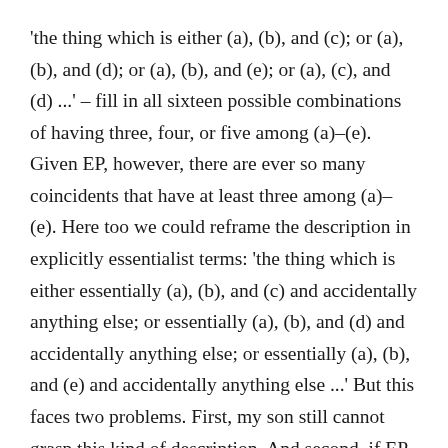'the thing which is either (a), (b), and (c); or (a), (b), and (d); or (a), (b), and (e); or (a), (c), and (d) ...' – fill in all sixteen possible combinations of having three, four, or five among (a)–(e). Given EP, however, there are ever so many coincidents that have at least three among (a)–(e). Here too we could reframe the description in explicitly essentialist terms: 'the thing which is either essentially (a), (b), and (c) and accidentally anything else; or essentially (a), (b), and (d) and accidentally anything else; or essentially (a), (b), and (e) and accidentally anything else ...' But this faces two problems. First, my son still cannot grasp this kind of description. And second, if EP is true, then corresponding to the sixteen ways of having at least three among (a)–(e) essentially and any other